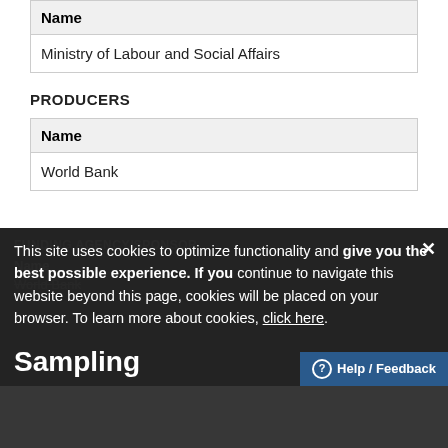| Name |
| --- |
| Ministry of Labour and Social Affairs |
PRODUCERS
| Name |
| --- |
| World Bank |
FUNDING AGENCY/SPONSOR
| Name |
| --- |
| World Bank |
This site uses cookies to optimize functionality and give you the best possible experience. If you continue to navigate this website beyond this page, cookies will be placed on your browser. To learn more about cookies, click here.
Sampling